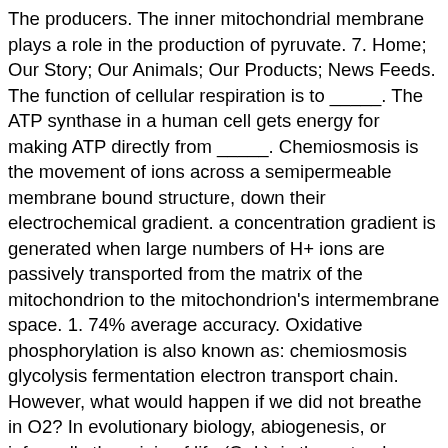The producers. The inner mitochondrial membrane plays a role in the production of pyruvate. 7. Home; Our Story; Our Animals; Our Products; News Feeds. The function of cellular respiration is to _____. The ATP synthase in a human cell gets energy for making ATP directly from _____. Chemiosmosis is the movement of ions across a semipermeable membrane bound structure, down their electrochemical gradient. a concentration gradient is generated when large numbers of H+ ions are passively transported from the matrix of the mitochondrion to the mitochondrion's intermembrane space. 1. 74% average accuracy. Oxidative phosphorylation is also known as: chemiosmosis glycolysis fermentation electron transport chain. However, what would happen if we did not breathe in O2? In evolutionary biology, abiogenesis, or informally the origin of life (OoL), is the natural process by which life has arisen from non-living matter, such as simple organic compounds. In cellular respiration, which of the following is performed directly by the electron transport chain (or its components)? Photosynthesis. Which of the following